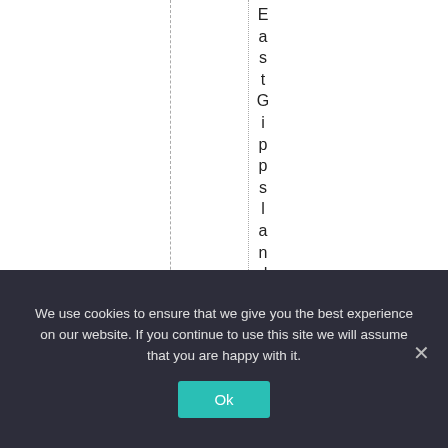[Figure (other): White area with two vertical dashed/dotted lines and vertical text reading 'EastGippslandfires' stacked letter by letter along the right dashed line]
We use cookies to ensure that we give you the best experience on our website. If you continue to use this site we will assume that you are happy with it.
Ok